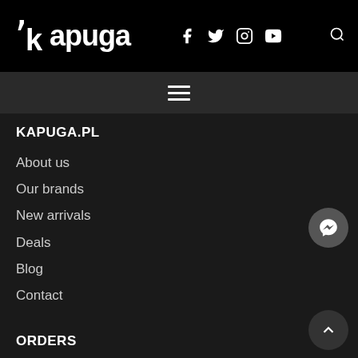kapuga — social media icons: f, twitter, instagram, youtube — search icon
[Figure (other): Navigation hamburger menu icon (three horizontal lines)]
KAPUGA.PL
About us
Our brands
New arrivals
Deals
Blog
Contact
ORDERS
Payments methods
Delivery Cost
Delivery Time